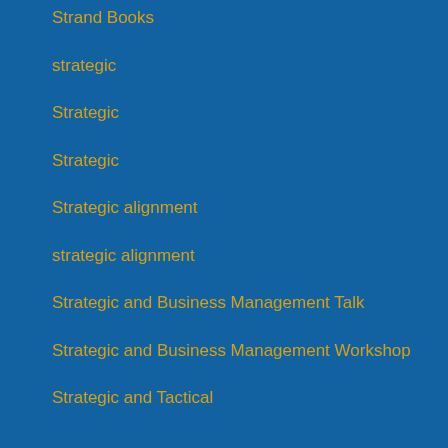Strand Books
strategic
Strategic
Strategic
Strategic alignment
strategic alignment
Strategic and Business Management Talk
Strategic and Business Management Workshop
Strategic and Tactical